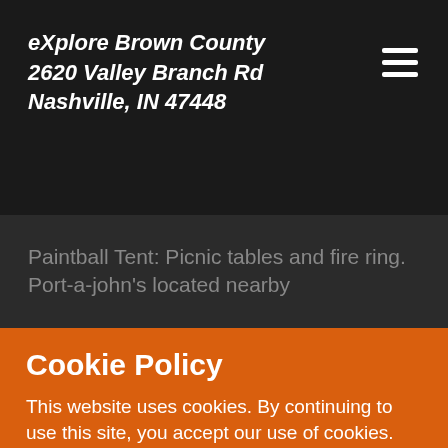eXplore Brown County
2620 Valley Branch Rd
Nashville, IN 47448
Paintball Tent: Picnic tables and fire ring. Port-a-john's located nearby
Cookie Policy
This website uses cookies. By continuing to use this site, you accept our use of cookies.
ACCEPT & CLOSE